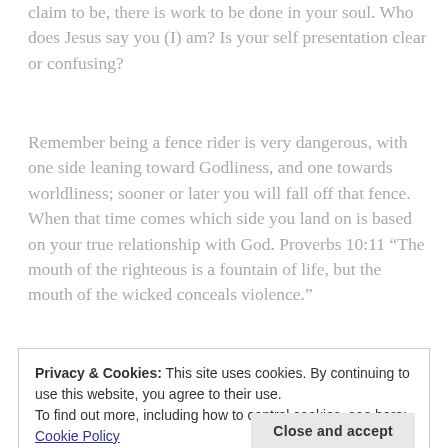claim to be, there is work to be done in your soul. Who does Jesus say you (I) am? Is your self presentation clear or confusing?
Remember being a fence rider is very dangerous, with one side leaning toward Godliness, and one towards worldliness; sooner or later you will fall off that fence. When that time comes which side you land on is based on your true relationship with God. Proverbs 10:11 “The mouth of the righteous is a fountain of life, but the mouth of the wicked conceals violence.”
Privacy & Cookies: This site uses cookies. By continuing to use this website, you agree to their use.
To find out more, including how to control cookies, see here: Cookie Policy